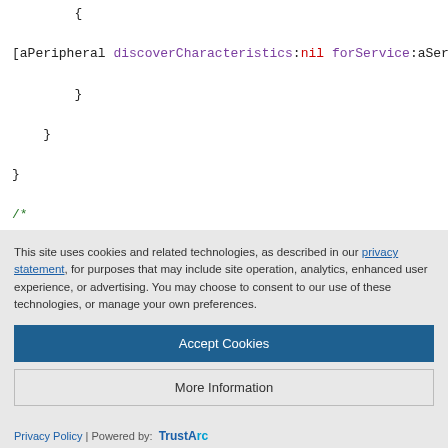{ [aPeripheral discoverCharacteristics:nil forService:aService]; } } } /*
This site uses cookies and related technologies, as described in our privacy statement, for purposes that may include site operation, analytics, enhanced user experience, or advertising. You may choose to consent to our use of these technologies, or manage your own preferences.
Accept Cookies
More Information
Privacy Policy | Powered by: TrustArc